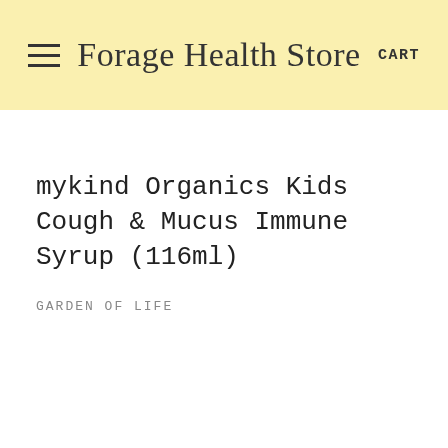Forage Health Store  CART
mykind Organics Kids Cough & Mucus Immune Syrup (116ml)
GARDEN OF LIFE